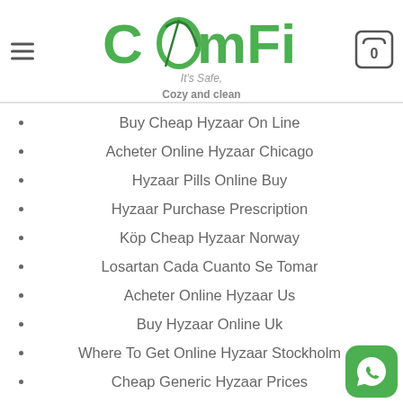COMFI - It's Safe, Cozy and clean
Buy Cheap Hyzaar On Line
Acheter Online Hyzaar Chicago
Hyzaar Pills Online Buy
Hyzaar Purchase Prescription
Köp Cheap Hyzaar Norway
Losartan Cada Cuanto Se Tomar
Acheter Online Hyzaar Us
Buy Hyzaar Online Uk
Where To Get Online Hyzaar Stockholm
Cheap Generic Hyzaar Prices
Generic Hyzaar Cost